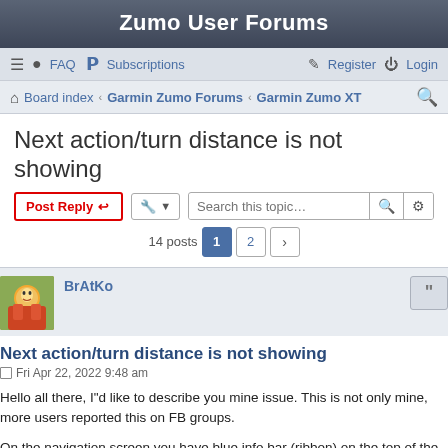Zumo User Forums
≡  FAQ  Subscriptions    Register  Login
Board index · Garmin Zumo Forums · Garmin Zumo XT
Next action/turn distance is not showing
14 posts  1  2
BrAtKo
Next action/turn distance is not showing
Fri Apr 22, 2022 9:48 am
Hello all there, I"d like to describe you mine issue. This is not only mine, more users reported this on FB groups.

On the navigation screen you have blue info bar (ribbon) on the top of the screen. There should be current important infos about next junction, turn, roundabout exit... But I have there empty bar, or just info with the text "Continue on <name-of-street>" or "Continue on road B54". I have all